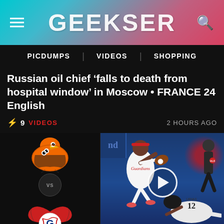GEEKSER
Russian oil chief ‘falls to death from hospital window’ in Moscow • FRANCE 24 English
⚡ 9   VIDEOS   2 HOURS AGO
[Figure (screenshot): Baseball game photo: Cleveland Guardians player fielding, Baltimore Orioles player #12 sliding, umpire in background. Play button overlay. Teams panel on left with Orioles vs Guardians logos.]
GAME HIGHLIGHTS